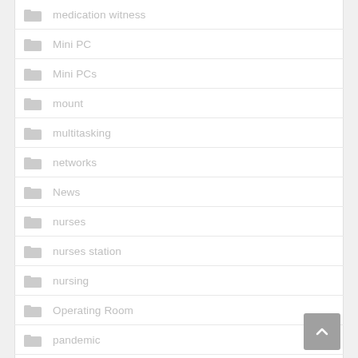medication witness
Mini PC
Mini PCs
mount
multitasking
networks
News
nurses
nurses station
nursing
Operating Room
pandemic